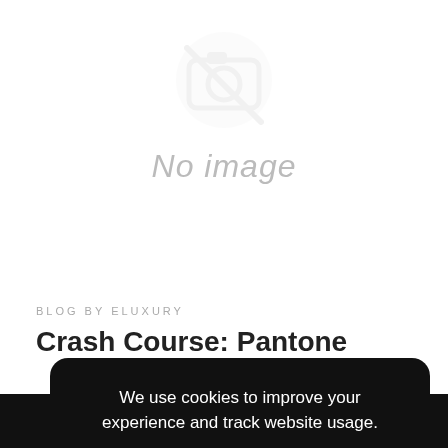[Figure (illustration): No image placeholder with a crossed-out image icon and italic 'No image' text in light gray]
BLOG BY ELUXURY
Crash Course: Pantone
We use cookies to improve your experience and track website usage.
Learn More  I understand